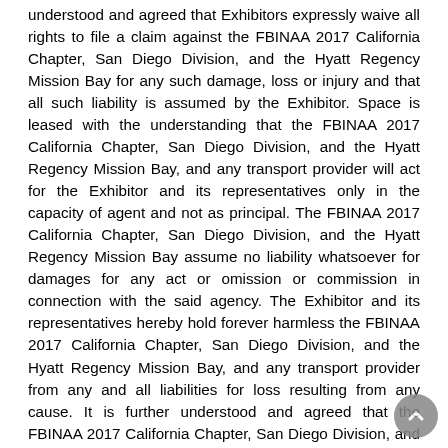understood and agreed that Exhibitors expressly waive all rights to file a claim against the FBINAA 2017 California Chapter, San Diego Division, and the Hyatt Regency Mission Bay for any such damage, loss or injury and that all such liability is assumed by the Exhibitor. Space is leased with the understanding that the FBINAA 2017 California Chapter, San Diego Division, and the Hyatt Regency Mission Bay, and any transport provider will act for the Exhibitor and its representatives only in the capacity of agent and not as principal. The FBINAA 2017 California Chapter, San Diego Division, and the Hyatt Regency Mission Bay assume no liability whatsoever for damages for any act or omission or commission in connection with the said agency. The Exhibitor and its representatives hereby hold forever harmless the FBINAA 2017 California Chapter, San Diego Division, and the Hyatt Regency Mission Bay, and any transport provider from any and all liabilities for loss resulting from any cause. It is further understood and agreed that the FBINAA 2017 California Chapter, San Diego Division, and the Hyatt Regency Mission Bay, and any transport provider shall in no way be liable to any Exhibitor for any lost profits, sales, or business opportunities or any other type of direct or